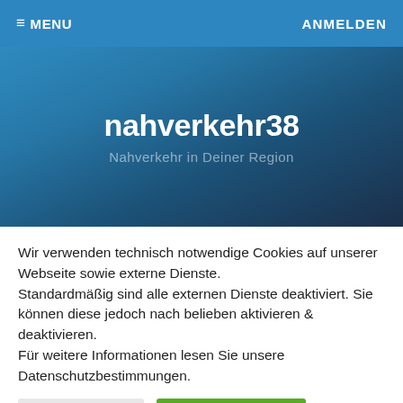≡ MENU   ANMELDEN
nahverkehr38
Nahverkehr in Deiner Region
Wir verwenden technisch notwendige Cookies auf unserer Webseite sowie externe Dienste.
Standardmäßig sind alle externen Dienste deaktiviert. Sie können diese jedoch nach belieben aktivieren & deaktivieren.
Für weitere Informationen lesen Sie unsere Datenschutzbestimmungen.
Einstellungen
Alle akzeptieren